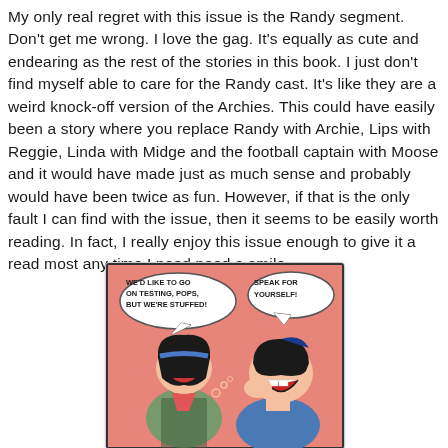My only real regret with this issue is the Randy segment. Don't get me wrong. I love the gag. It's equally as cute and endearing as the rest of the stories in this book. I just don't find myself able to care for the Randy cast. It's like they are a weird knock-off version of the Archies. This could have easily been a story where you replace Randy with Archie, Lips with Reggie, Linda with Midge and the football captain with Moose and it would have made just as much sense and probably would have been twice as fun. However, if that is the only fault I can find with the issue, then it seems to be easily worth reading. In fact, I really enjoy this issue enough to give it a read most any time I need need a smile.
[Figure (illustration): Comic panel with pink background showing a girl with black hair and a boy yawning/laughing. Speech bubbles read: 'WE'D LIKE TO GO ON TESTING, POPS, BUT WE'RE STUFFED!' and 'SPEAK FOR YOURSELF!']